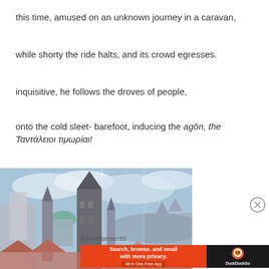this time, amused on an unknown journey in a caravan,
while shorty the ride halts, and its crowd egresses.
inquisitive, he follows the droves of people,
onto the cold sleet- barefoot, inducing the agōn, the Ταντάλειοι τιμωρίαι!
[Figure (illustration): Painting of Prague cityscape with Gothic church towers and spires against a cloudy blue sky, rendered in impressionistic style]
Advertisements
Search, browse, and email with more privacy. All in One Free App — DuckDuckGo